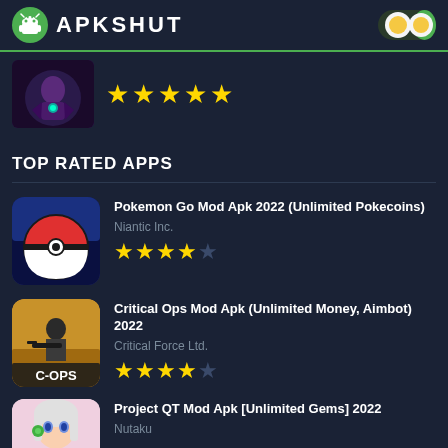APKSHUT
[Figure (screenshot): Partially visible game app thumbnail with purple-themed character]
★★★★★
TOP RATED APPS
[Figure (screenshot): Pokemon Go app icon - red and white Pokeball]
Pokemon Go Mod Apk 2022 (Unlimited Pokecoins)
Niantic Inc.
★★★★☆
[Figure (screenshot): Critical Ops game icon with soldier and C-OPS logo]
Critical Ops Mod Apk (Unlimited Money, Aimbot) 2022
Critical Force Ltd.
★★★★☆
[Figure (screenshot): Project QT anime girl character icon]
Project QT Mod Apk [Unlimited Gems] 2022
Nutaku